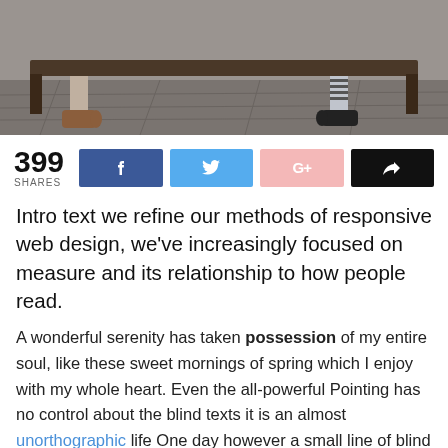[Figure (photo): Photo showing two people's legs and feet sitting on a bench on a stone/cobblestone surface. One person wears brown boots, the other wears striped socks and dark shoes.]
399 SHARES [Facebook button] [Twitter button] [Google+ button] [Share button]
Intro text we refine our methods of responsive web design, we've increasingly focused on measure and its relationship to how people read.
A wonderful serenity has taken possession of my entire soul, like these sweet mornings of spring which I enjoy with my whole heart. Even the all-powerful Pointing has no control about the blind texts it is an almost unorthographic life One day however a small line of blind text by the name of Lorem Ipsum decided